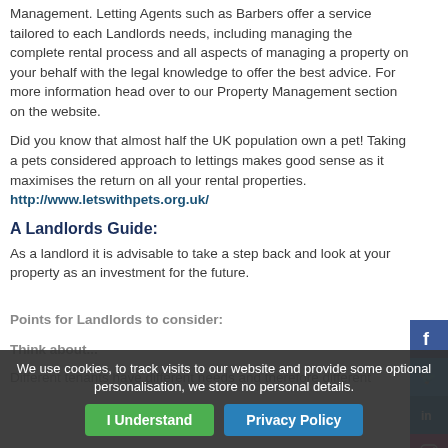Management. Letting Agents such as Barbers offer a service tailored to each Landlords needs, including managing the complete rental process and all aspects of managing a property on your behalf with the legal knowledge to offer the best advice. For more information head over to our Property Management section on the website.
Did you know that almost half the UK population own a pet! Taking a pets considered approach to lettings makes good sense as it maximises the return on all your rental properties. http://www.letswithpets.org.uk/
A Landlords Guide:
As a landlord it is advisable to take a step back and look at your property as an investment for the future.
Points for Landlords to consider:
Think about...
Different tenants have different needs and therefore different
We use cookies, to track visits to our website and provide some optional personalisation, we store no personal details.